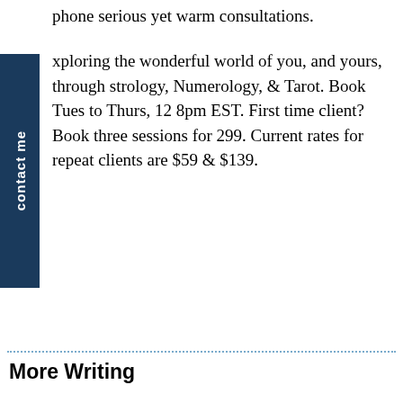phone serious yet warm consultations.
xploring the wonderful world of you, and yours, through strology, Numerology, & Tarot. Book Tues to Thurs, 12 8pm EST. First time client? Book three sessions for 299. Current rates for repeat clients are $59 & $139.
contact us
More Writing
When I'm not writing Gemini-style quips, I can be found writing more detailed and thorough Virgo-style articles at Virgo Vault.. I also wrote a book: Psychic Jucy's TarotSeek: How to Read Tarot For Yourself.